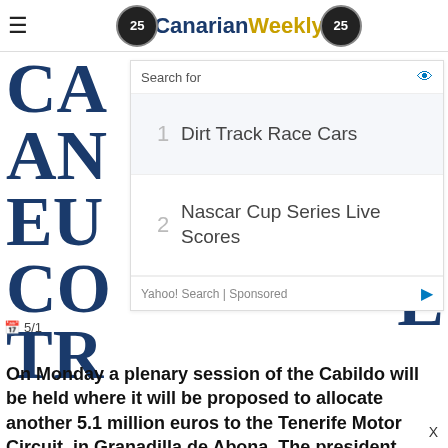Canarian Weekly
[Figure (screenshot): Search ad overlay showing: 'Search for' bar with eye icon, item 1 'Dirt Track Race Cars', item 2 'Nascar Cup Series Live Scores', footer 'Yahoo! Search | Sponsored']
CA AN EU CO TR
5/1
On [Monday] a plenary session of the Cabildo will be held where it will be proposed to allocate another 5.1 million euros to the Tenerife Motor Circuit, in Granadilla de Abona. The president, Pedro Martín, said that a sports infrastructure of